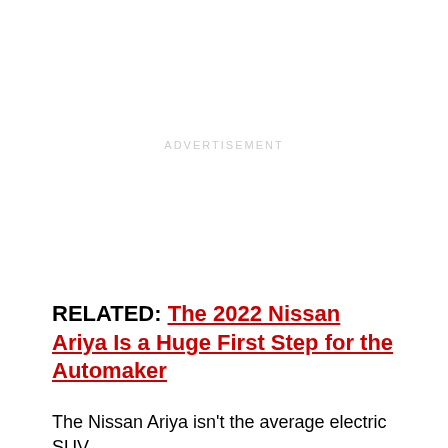ADVERTISEMENT
RELATED: The 2022 Nissan Ariya Is a Huge First Step for the Automaker
The Nissan Ariya isn't the average electric SUV.